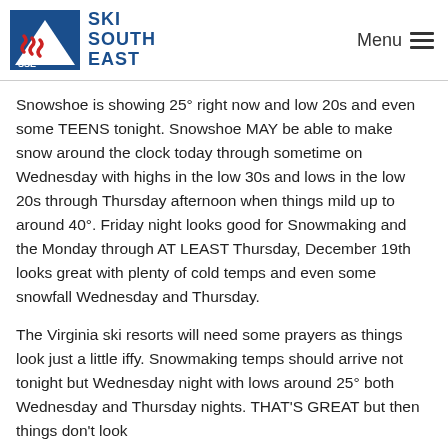SKI SOUTH EAST | Menu
Snowshoe is showing 25° right now and low 20s and even some TEENS tonight. Snowshoe MAY be able to make snow around the clock today through sometime on Wednesday with highs in the low 30s and lows in the low 20s through Thursday afternoon when things mild up to around 40°. Friday night looks good for Snowmaking and the Monday through AT LEAST Thursday, December 19th looks great with plenty of cold temps and even some snowfall Wednesday and Thursday.
The Virginia ski resorts will need some prayers as things look just a little iffy. Snowmaking temps should arrive not tonight but Wednesday night with lows around 25° both Wednesday and Thursday nights. THAT'S GREAT but then things don't look as long as for some resorts since it only lasts